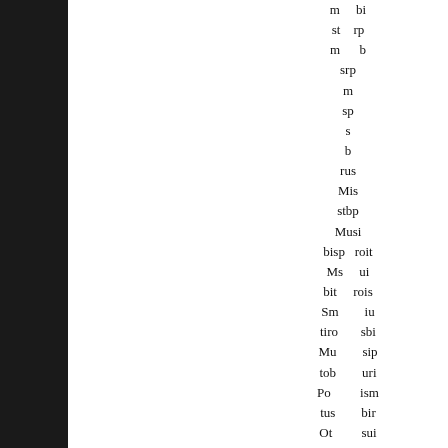m bi
st rp
m b
srp
m
sp
s
b
rus
Mis
stbp
Musi
bisp roit
Ms ui
bit rois
Sm iu
tiro sbi
Mu sip
tob uri
Po ism
tus bir
Ot sui
Om ib
sur pts
Oi bs
smrut